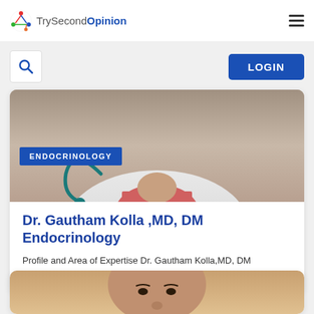TrySecondOpinion
[Figure (screenshot): Website screenshot showing TrySecondOpinion logo with colorful icon on left and hamburger menu icon on right]
[Figure (other): Search icon box on left and blue LOGIN button on right]
[Figure (photo): Doctor with stethoscope wearing white coat and checkered shirt, partial face visible, with blue ENDOCRINOLOGY badge overlay]
Dr. Gautham Kolla ,MD, DM Endocrinology
Profile and Area of Expertise Dr. Gautham Kolla,MD, DM ENDOCRINOLOGY is a Endocrinologist at Mamata
[Figure (photo): Partial image of second doctor, showing face from forehead to nose]